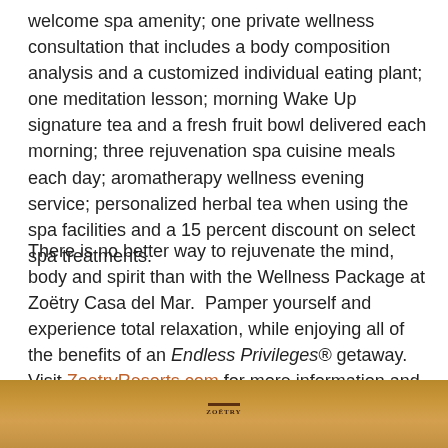welcome spa amenity; one private wellness consultation that includes a body composition analysis and a customized individual eating plant; one meditation lesson; morning Wake Up signature tea and a fresh fruit bowl delivered each morning; three rejuvenation spa cuisine meals each day; aromatherapy wellness evening service; personalized herbal tea when using the spa facilities and a 15 percent discount on select spa treatments.
There is no better way to rejuvenate the mind, body and spirit than with the Wellness Package at Zoëtry Casa del Mar.  Pamper yourself and experience total relaxation, while enjoying all of the benefits of an Endless Privileges® getaway.
Visit ZoetryResorts.com for more information and to book your getaway today!
[Figure (photo): Warm-toned photograph with golden/amber hues, showing a resort or spa scene. A small logo or emblem is visible at the center top of the image.]